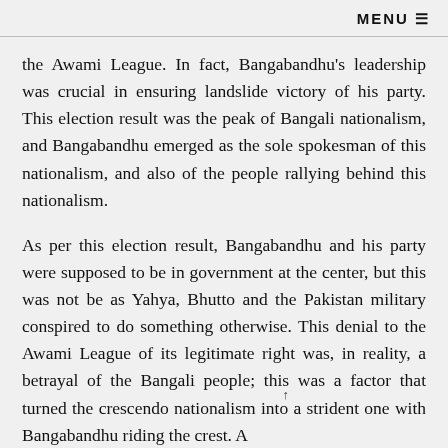MENU ≡
the Awami League. In fact, Bangabandhu's leadership was crucial in ensuring landslide victory of his party. This election result was the peak of Bangali nationalism, and Bangabandhu emerged as the sole spokesman of this nationalism, and also of the people rallying behind this nationalism.
As per this election result, Bangabandhu and his party were supposed to be in government at the center, but this was not be as Yahya, Bhutto and the Pakistan military conspired to do something otherwise. This denial to the Awami League of its legitimate right was, in reality, a betrayal of the Bangali people; this was a factor that turned the crescendo nationalism into a strident one with Bangabandhu riding the crest. A